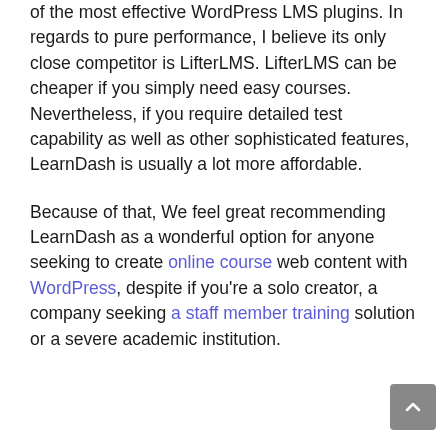of the most effective WordPress LMS plugins. In regards to pure performance, I believe its only close competitor is LifterLMS. LifterLMS can be cheaper if you simply need easy courses. Nevertheless, if you require detailed test capability as well as other sophisticated features, LearnDash is usually a lot more affordable.
Because of that, We feel great recommending LearnDash as a wonderful option for anyone seeking to create online course web content with WordPress, despite if you're a solo creator, a company seeking a staff member training solution or a severe academic institution.